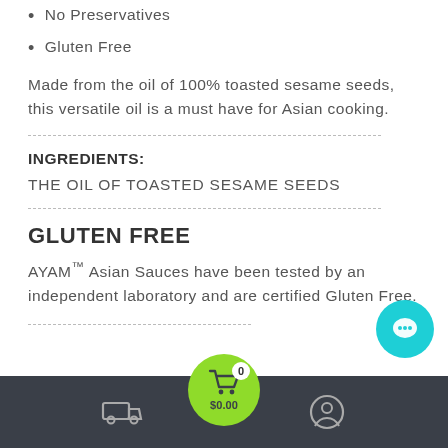No Preservatives
Gluten Free
Made from the oil of 100% toasted sesame seeds, this versatile oil is a must have for Asian cooking.
INGREDIENTS:
THE OIL OF TOASTED SESAME SEEDS
GLUTEN FREE
AYAM™ Asian Sauces have been tested by an independent laboratory and are certified Gluten Free.
Navigation bar with delivery, cart ($0.00, 0 items), and account icons